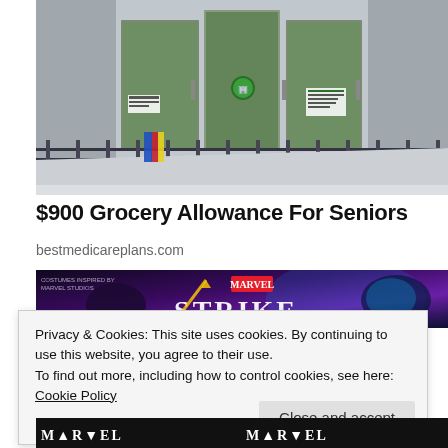[Figure (photo): Photograph of a government or institutional building entrance with glass doors, metal railings forming a ramp, and concrete/stone facade]
$900 Grocery Allowance For Seniors
bestmedicareplans.com
[Figure (screenshot): Banner advertisement for Marvel Strike game showing costumed characters on a dark purple background with the text MARVEL and STRIKE]
Privacy & Cookies: This site uses cookies. By continuing to use this website, you agree to their use.
To find out more, including how to control cookies, see here: Cookie Policy
Close and accept
[Figure (screenshot): Bottom portion of another banner advertisement, dark background with white stylized text]